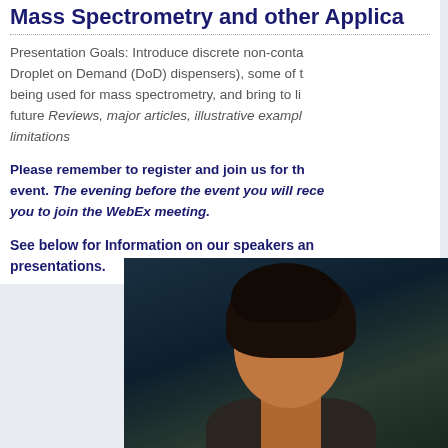Mass Spectrometry and other Applications
Presentation Goals: Introduce discrete non-contact (Droplet on Demand (DoD) dispensers), some of the being used for mass spectrometry, and bring to light future Reviews, major articles, illustrative examples limitations
Please remember to register and join us for the event. The evening before the event you will receive you to join the WebEx meeting.
See below for Information on our speakers and presentations.
[Figure (photo): Portrait photo of a person with curly dark hair against a dark teal/navy background, showing head and upper shoulders]